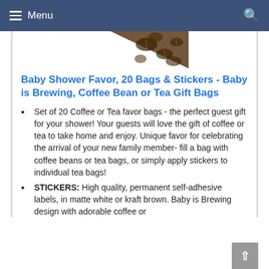Menu
[Figure (photo): Partial image of coffee beans in a triangular shape against a white background]
Baby Shower Favor, 20 Bags & Stickers - Baby is Brewing, Coffee Bean or Tea Gift Bags
Set of 20 Coffee or Tea favor bags - the perfect guest gift for your shower! Your guests will love the gift of coffee or tea to take home and enjoy. Unique favor for celebrating the arrival of your new family member- fill a bag with coffee beans or tea bags, or simply apply stickers to individual tea bags!
STICKERS: High quality, permanent self-adhesive labels, in matte white or kraft brown. Baby is Brewing design with adorable coffee or